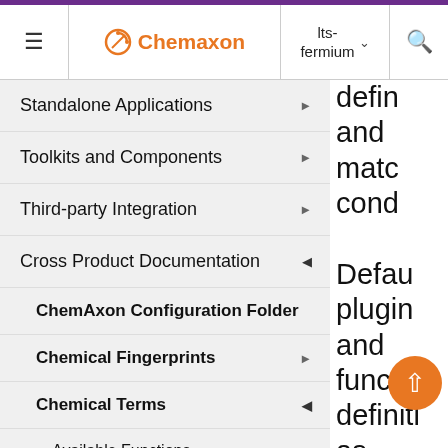Chemaxon | lts-fermium
Standalone Applications
Toolkits and Components
Third-party Integration
Cross Product Documentation
ChemAxon Configuration Folder
Chemical Fingerprints
Chemical Terms
Available Functions
Chemical Terms Getting Help an...
defin and matc cond Default plugin and functi definiti as well the defau